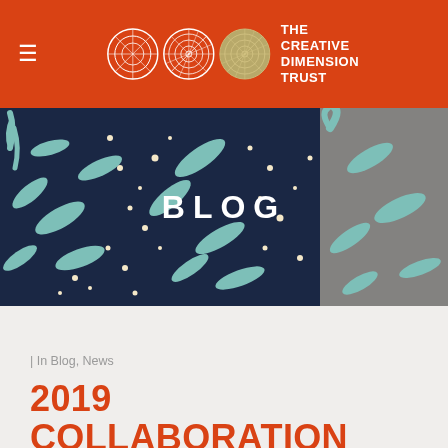THE CREATIVE DIMENSION TRUST
[Figure (illustration): Hero banner image showing decorative Japanese-style pattern with teal fish/bird shapes and white dots on a dark navy background, with text overlay 'BLOG']
| In Blog, News
2019 COLLABORATION UNVEILING: 'SUPERNATURE'